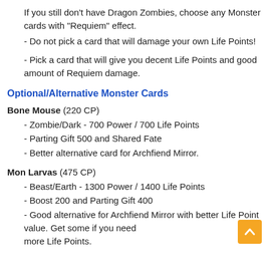If you still don't have Dragon Zombies, choose any Monster cards with "Requiem" effect.
- Do not pick a card that will damage your own Life Points!
- Pick a card that will give you decent Life Points and good amount of Requiem damage.
Optional/Alternative Monster Cards
Bone Mouse (220 CP)
- Zombie/Dark - 700 Power / 700 Life Points
- Parting Gift 500 and Shared Fate
- Better alternative card for Archfiend Mirror.
Mon Larvas (475 CP)
- Beast/Earth - 1300 Power / 1400 Life Points
- Boost 200 and Parting Gift 400
- Good alternative for Archfiend Mirror with better Life Point value. Get some if you need more Life Points.